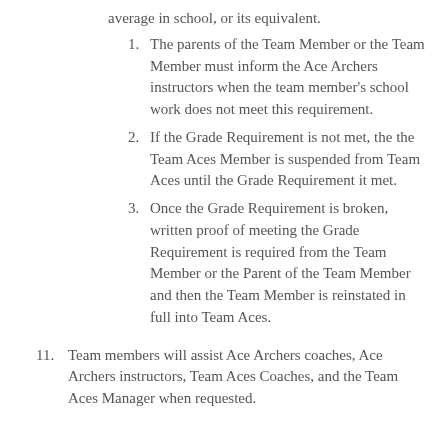average in school, or its equivalent.
1. The parents of the Team Member or the Team Member must inform the Ace Archers instructors when the team member's school work does not meet this requirement.
2. If the Grade Requirement is not met, the the Team Aces Member is suspended from Team Aces until the Grade Requirement it met.
3. Once the Grade Requirement is broken, written proof of meeting the Grade Requirement is required from the Team Member or the Parent of the Team Member and then the Team Member is reinstated in full into Team Aces.
11. Team members will assist Ace Archers coaches, Ace Archers instructors, Team Aces Coaches, and the Team Aces Manager when requested.